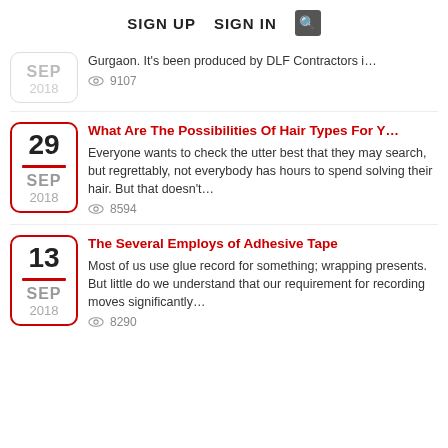SIGN UP   SIGN IN   🔍
Gurgaon. It's been produced by DLF Contractors i...  👁 9107
29 SEP 2018
What Are The Possibilities Of Hair Types For Y...
Everyone wants to check the utter best that they may search, but regrettably, not everybody has hours to spend solving their hair. But that doesn't...  👁 8594
29 SEP 2018
The Several Employs of Adhesive Tape
Most of us use glue record for something; wrapping presents. But little do we understand that our requirement for recording moves significantly...  👁 8290
13 SEP 2018